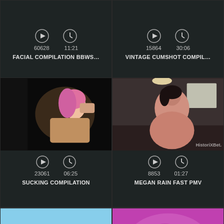[Figure (screenshot): Video thumbnail top-left: FACIAL COMPILATION BBWS..., views 60628, duration 11:21]
[Figure (screenshot): Video thumbnail top-right: VINTAGE CUMSHOT COMPIL..., views 15864, duration 30:06]
[Figure (screenshot): Video thumbnail mid-left: SUCKING COMPILATION, views 23061, duration 06:25]
[Figure (screenshot): Video thumbnail mid-right: MEGAN RAIN FAST PMV, views 8853, duration 01:27]
[Figure (screenshot): Video thumbnail bottom-left: woman in pink outfit outdoors]
[Figure (screenshot): Video thumbnail bottom-right: pink swirl background with text overlay about new videos]